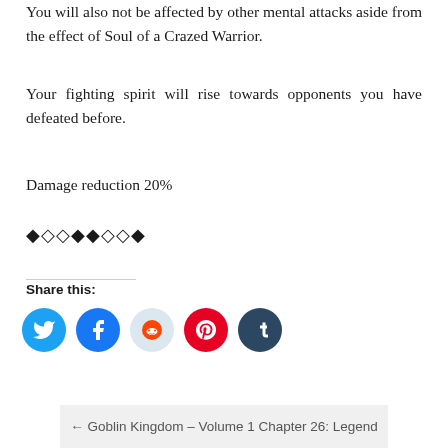You will also not be affected by other mental attacks aside from the effect of Soul of a Crazed Warrior.
Your fighting spirit will rise towards opponents you have defeated before.
Damage reduction 20%
◆◇◇◆◆◇◇◆
Share this:
[Figure (infographic): Row of 5 social media sharing icon circles: Twitter (blue), Facebook (blue), Reddit (light blue), Pinterest (red), Tumblr (dark navy)]
← Goblin Kingdom – Volume 1 Chapter 26: Legend